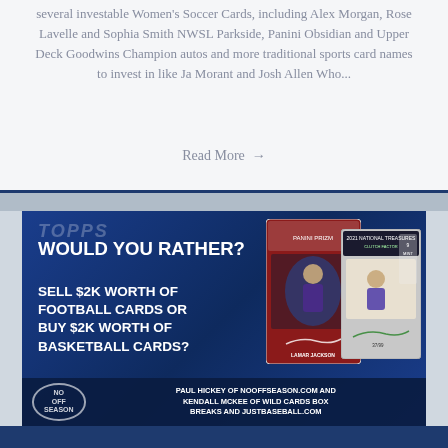several investable Women's Soccer Cards, including Alex Morgan, Rose Lavelle and Sophia Smith NWSL Parkside, Panini Obsidian and Upper Deck Goodwins Champion autos and more traditional sports card names to invest in like Ja Morant and Josh Allen Who...
Read More →
[Figure (photo): Promotional image for a sports card discussion segment titled 'Would You Rather? Sell $2K worth of Football Cards or Buy $2K worth of Basketball Cards?' featuring trading cards imagery on a blue background. Logo says 'No Off Season' with text attributing Paul Hickey of NoOffSeason.com and Kendall McKee of Wild Cards Box Breaks and JustBaseball.com]